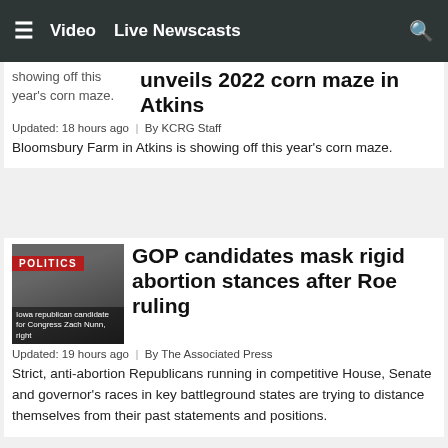≡  Video  Live Newscasts  🔍
unveils 2022 corn maze in Atkins
Updated: 18 hours ago  |  By KCRG Staff
Bloomsbury Farm in Atkins is showing off this year's corn maze.
[Figure (photo): Photo of Iowa Politics with text showing republican candidate for Congress Zach Nunn, right]
GOP candidates mask rigid abortion stances after Roe ruling
Updated: 19 hours ago  |  By The Associated Press
Strict, anti-abortion Republicans running in competitive House, Senate and governor's races in key battleground states are trying to distance themselves from their past statements and positions.